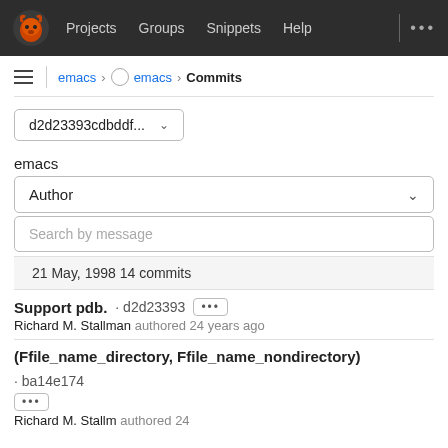Projects  Groups  Snippets  Help
emacs > emacs > Commits
d2d23393cdbddf...
emacs
Author
Search by message
21 May, 1998 14 commits
Support pdb. · d2d23393 •••
Richard M. Stallman authored 24 years ago
(Ffile_name_directory, Ffile_name_nondirectory) · ba14e174 •••
Richard M. Stallm authored 24